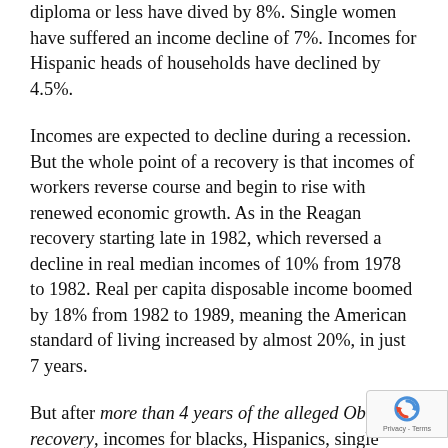diploma or less have dived by 8%. Single women have suffered an income decline of 7%. Incomes for Hispanic heads of households have declined by 4.5%.
Incomes are expected to decline during a recession. But the whole point of a recovery is that incomes of workers reverse course and begin to rise with renewed economic growth. As in the Reagan recovery starting late in 1982, which reversed a decline in real median incomes of 10% from 1978 to 1982. Real per capita disposable income boomed by 18% from 1982 to 1989, meaning the American standard of living increased by almost 20%, in just 7 years.
But after more than 4 years of the alleged Obama recovery, incomes for blacks, Hispanics, single women, young workers, and less educated, lower income workers have continued to drop sharply